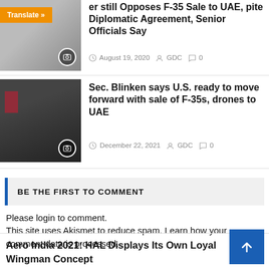er still Opposes F-35 Sale to UAE, pite Diplomatic Agreement, Senior Officials Say
August 19, 2020  GDC  0
[Figure (photo): Thumbnail image of article about F-35 sale to UAE with camera icon]
Sec. Blinken says U.S. ready to move forward with sale of F-35s, drones to UAE
December 22, 2021  GDC  0
[Figure (photo): Photo of Secretary Blinken at podium with American flag, with camera icon]
BE THE FIRST TO COMMENT
Please login to comment.
This site uses Akismet to reduce spam. Learn how your comment data is processed.
Aero India 2021: HAL Displays Its Own Loyal Wingman Concept